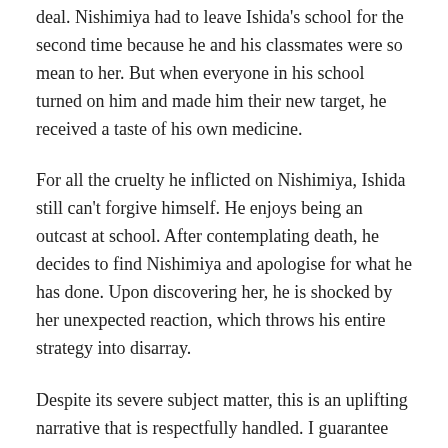deal. Nishimiya had to leave Ishida's school for the second time because he and his classmates were so mean to her. But when everyone in his school turned on him and made him their new target, he received a taste of his own medicine.
For all the cruelty he inflicted on Nishimiya, Ishida still can't forgive himself. He enjoys being an outcast at school. After contemplating death, he decides to find Nishimiya and apologise for what he has done. Upon discovering her, he is shocked by her unexpected reaction, which throws his entire strategy into disarray.
Despite its severe subject matter, this is an uplifting narrative that is respectfully handled. I guarantee that you'll shed a tear at least twice.
4. Colorful
Colorful, a 2010 award-winning film, tells the story of an